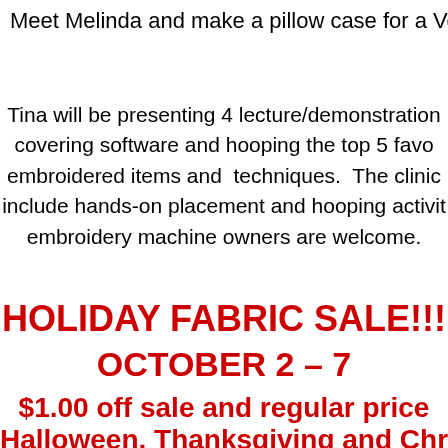Meet Melinda and make a pillow case for a Ve
Tina will be presenting 4 lecture/demonstration covering software and hooping the top 5 favo embroidered items and techniques. The clinic include hands-on placement and hooping activit embroidery machine owners are welcome.
HOLIDAY FABRIC SALE!!!
OCTOBER 2 – 7
$1.00 off sale and regular price
Halloween, Thanksgiving and Chris